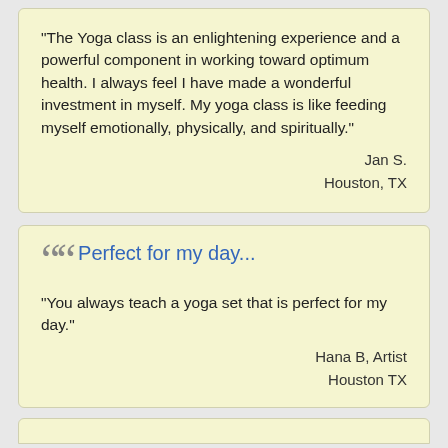"The Yoga class is an enlightening experience and a powerful component in working toward optimum health. I always feel I have made a wonderful investment in myself. My yoga class is like feeding myself emotionally, physically, and spiritually."
Jan S.
Houston, TX
Perfect for my day...
"You always teach a yoga set that is perfect for my day."
Hana B, Artist
Houston TX